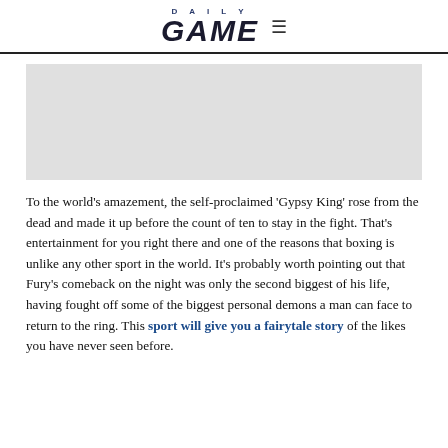DAILY GAME
[Figure (other): Advertisement placeholder / blank gray rectangle]
To the world's amazement, the self-proclaimed 'Gypsy King' rose from the dead and made it up before the count of ten to stay in the fight. That's entertainment for you right there and one of the reasons that boxing is unlike any other sport in the world. It's probably worth pointing out that Fury's comeback on the night was only the second biggest of his life, having fought off some of the biggest personal demons a man can face to return to the ring. This sport will give you a fairytale story of the likes you have never seen before.